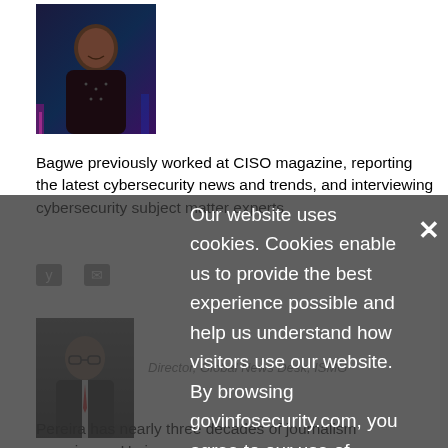[Figure (photo): Headshot photo of a young man against a dark city background]
Bagwe previously worked at CISO magazine, reporting the latest cybersecurity news and trends, and interviewing cybersecurity subject matter experts.
[Figure (photo): Headshot photo of a man in a suit]
Director, Global News Desk, ISMG
Our website uses cookies. Cookies enable us to provide the best experience possible and help us understand how visitors use our website. By browsing govinfosecurity.com, you agree to our use of cookies.
Pereira has nearly three decades of journalism experience. He is